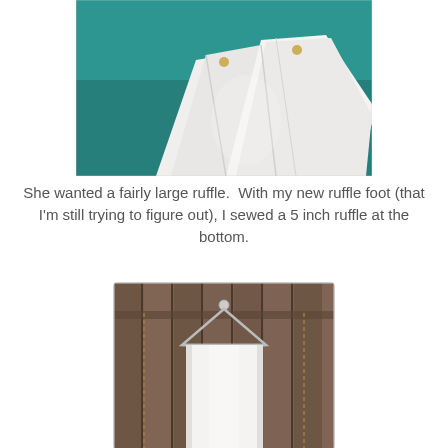[Figure (photo): White fabric/cloth pieces arranged on a teal/green background, showing ruffled or folded white material with small gold pins or clasps visible.]
She wanted a fairly large ruffle.  With my new ruffle foot (that I'm still trying to figure out), I sewed a 5 inch ruffle at the bottom.
[Figure (photo): A white skirt hanging on a plastic hanger against a weathered wooden fence backdrop. The skirt appears long and smooth, showing the ruffle at the bottom.]